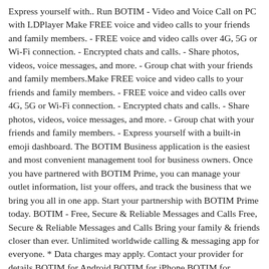Express yourself with.. Run BOTIM - Video and Voice Call on PC with LDPlayer Make FREE voice and video calls to your friends and family members. - FREE voice and video calls over 4G, 5G or Wi-Fi connection. - Encrypted chats and calls. - Share photos, videos, voice messages, and more. - Group chat with your friends and family members.Make FREE voice and video calls to your friends and family members. - FREE voice and video calls over 4G, 5G or Wi-Fi connection. - Encrypted chats and calls. - Share photos, videos, voice messages, and more. - Group chat with your friends and family members. - Express yourself with a built-in emoji dashboard. The BOTIM Business application is the easiest and most convenient management tool for business owners. Once you have partnered with BOTIM Prime, you can manage your outlet information, list your offers, and track the business that we bring you all in one app. Start your partnership with BOTIM Prime today. BOTIM - Free, Secure & Reliable Messages and Calls Free, Secure & Reliable Messages and Calls Bring your family & friends closer than ever. Unlimited worldwide calling & messaging app for everyone. * Data charges may apply. Contact your provider for details BOTIM for Android BOTIM for iPhone BOTIM for Mac/PC Download APK Jul 25, 2022 · Make FREE voice and video calls to your friends and family members. - FREE voice and video calls over 4G, 5G or Wi-Fi connection. - Encrypted chats and calls. - Share photos, videos, voice messages, and more. - Group chat with your friends and family members. - Express